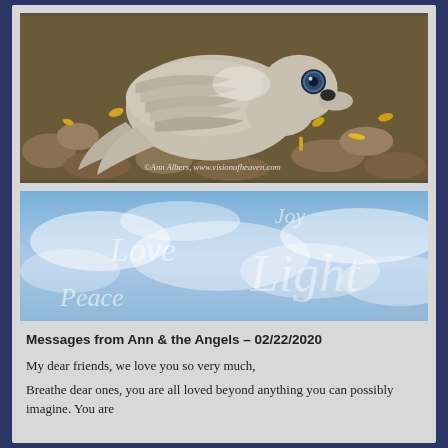[Figure (photo): Close-up photograph of a dove/pigeon lying on the ground among fallen yellow leaves and rocks, looking at the camera with one visible eye. Watermark reads: ©Ann Albers, www.visionofheaven.com]
[Figure (illustration): Sky banner with blue sky and clouds, featuring semi-transparent script text reading 'Joy', 'Love', 'Light', 'Peace' in white cursive lettering]
Messages from Ann & the Angels – 02/22/2020
My dear friends, we love you so very much,
Breathe dear ones, you are all loved beyond anything you can possibly imagine. You are